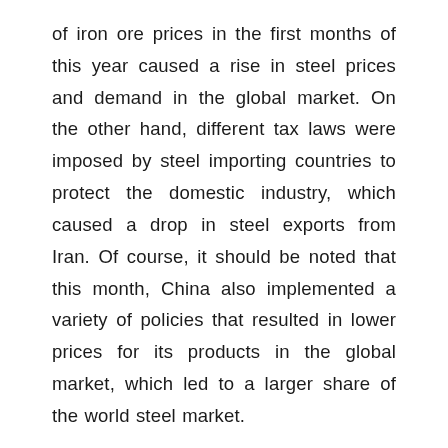of iron ore prices in the first months of this year caused a rise in steel prices and demand in the global market. On the other hand, different tax laws were imposed by steel importing countries to protect the domestic industry, which caused a drop in steel exports from Iran. Of course, it should be noted that this month, China also implemented a variety of policies that resulted in lower prices for its products in the global market, which led to a larger share of the world steel market.
What companies were the largest Iranian